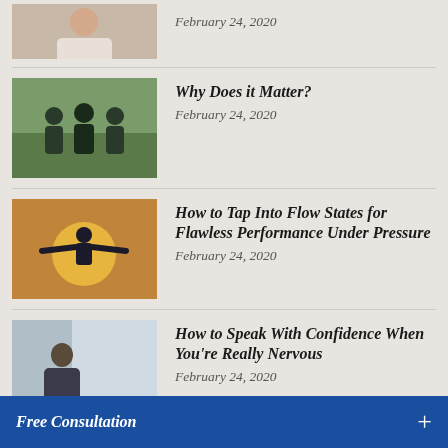February 24, 2020
Why Does it Matter?
February 24, 2020
How to Tap Into Flow States for Flawless Performance Under Pressure
February 24, 2020
How to Speak With Confidence When You're Really Nervous
February 24, 2020
How to Remove the Danger and Date Anyone
February 24, 2020
Free Consultation